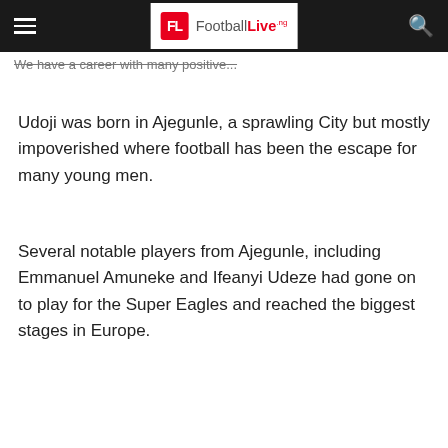FootballLive.ng
We have a career with many positive...
Udoji was born in Ajegunle, a sprawling City but mostly impoverished where football has been the escape for many young men.
Several notable players from Ajegunle, including Emmanuel Amuneke and Ifeanyi Udeze had gone on to play for the Super Eagles and reached the biggest stages in Europe.